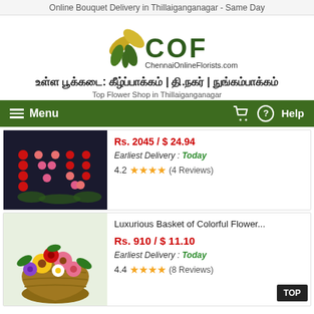Online Bouquet Delivery in Thillaiganganagar - Same Day
[Figure (logo): COF Chennai Online Florists logo with flower/leaf graphic in gold and green, text ChennaiOnlineFlorists.com]
உள்ள பூக்கடை: கீழ்ப்பாக்கம் | தி.நகர் | நுங்கம்பாக்கம்
Top Flower Shop in Thillaiganganagar
Menu
Help
[Figure (photo): Roses arranged to spell ILU/IVU on a dark background]
Rs. 2045 / $ 24.94
Earliest Delivery : Today
4.2 ★★★★ (4 Reviews)
Luxurious Basket of Colorful Flower...
[Figure (photo): Colorful flower basket with gerberas, roses, and various bright flowers in a wicker basket]
Rs. 910 / $ 11.10
Earliest Delivery : Today
4.4 ★★★★ (8 Reviews)